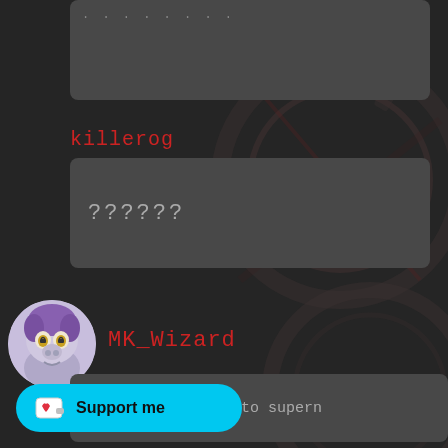[Figure (screenshot): Dark themed chat interface screenshot showing messages from users killerog and MK_Wizard with a Support me button overlay]
killerog
??????
MK_Wizard
this would get into supern
Support me